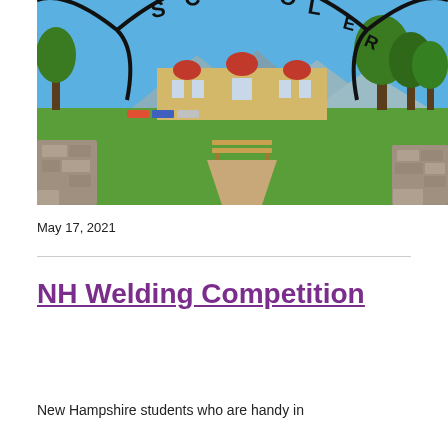[Figure (photo): Outdoor park scene with iron archway reading 'SCHOONER PARK', green lawn, a building with red domed roofs in the background, mountains, trees, a wooden bench, and stone wall. Clear blue sky.]
May 17, 2021
NH Welding Competition
New Hampshire students who are handy in